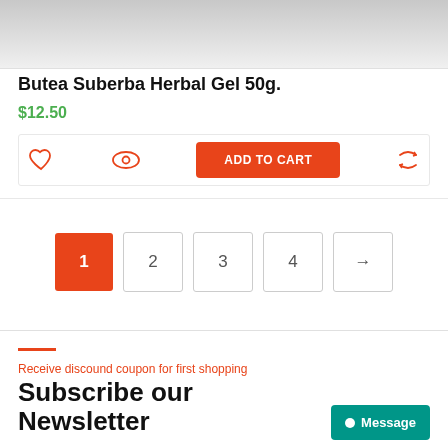[Figure (screenshot): Product image area at top of card, showing gradient grey background]
Butea Suberba Herbal Gel 50g.
$12.50
[Figure (infographic): Product action icons: heart (wishlist), eye (quick view), Add to Cart button, refresh/compare icon]
[Figure (infographic): Pagination controls: page 1 (active, orange), 2, 3, 4, next arrow]
Receive discound coupon for first shopping
Subscribe our Newsletter
Message